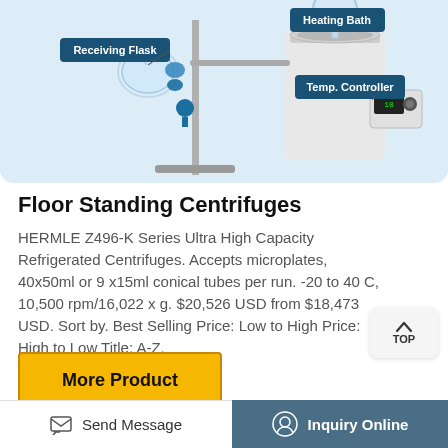[Figure (photo): Lab equipment diagram showing a rotary evaporator or distillation setup with labeled parts: Receiving Flask, Heating Bath, and Temp. Controller. Blue and white lab apparatus on light blue background.]
Floor Standing Centrifuges
HERMLE Z496-K Series Ultra High Capacity Refrigerated Centrifuges. Accepts microplates, 40x50ml or 9 x15ml conical tubes per run. -20 to 40 C, 10,500 rpm/16,022 x g. $20,526 USD from $18,473 USD. Sort by. Best Selling Price: Low to High Price: High to Low Title: A-Z.
[Figure (photo): Partial view of a floor standing centrifuge at the bottom of the page, showing the top rotor section in white and black.]
Send Message   Inquiry Online